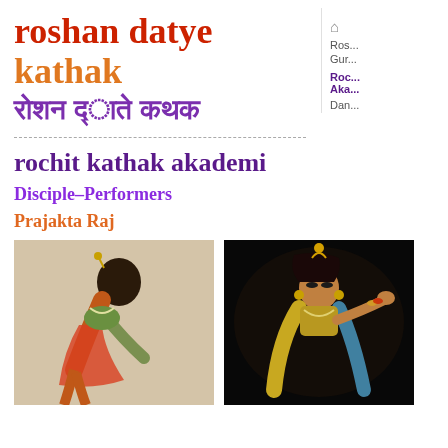roshan datye kathak / रोशन द्‍ाते कथक
rochit kathak akademi
Disciple-Performers
Prajakta Raj
[Figure (photo): Kathak dancer in traditional costume performing a pose, bending forward with colorful attire]
[Figure (photo): Kathak dancer performing on dark stage, wearing golden costume, gesturing with hands]
Ros... Gur... Roc... Aka... Dan...